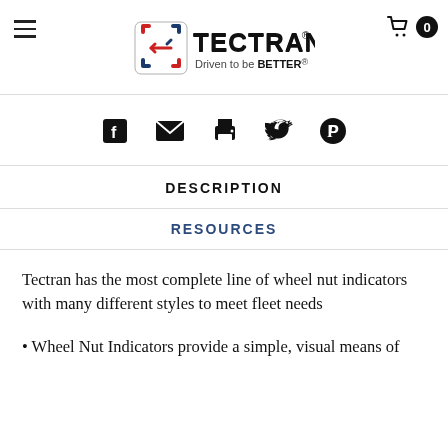Tectran — Driven to be BETTER
[Figure (other): Social share icons: Facebook, email, print, Twitter, Pinterest]
DESCRIPTION
RESOURCES
Tectran has the most complete line of wheel nut indicators with many different styles to meet fleet needs
• Wheel Nut Indicators provide a simple, visual means of